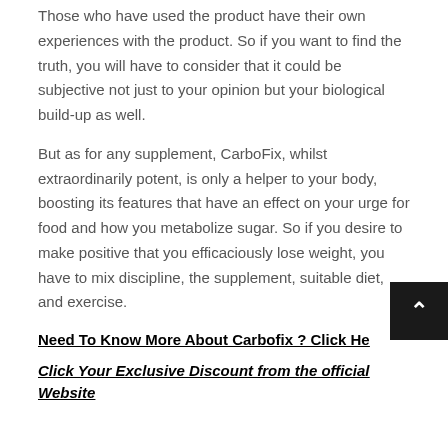Those who have used the product have their own experiences with the product. So if you want to find the truth, you will have to consider that it could be subjective not just to your opinion but your biological build-up as well.
But as for any supplement, CarboFix, whilst extraordinarily potent, is only a helper to your body, boosting its features that have an effect on your urge for food and how you metabolize sugar. So if you desire to make positive that you efficaciously lose weight, you have to mix discipline, the supplement, suitable diet, and exercise.
Need To Know More About Carbofix ? Click Here
Click Your Exclusive Discount from the official Website